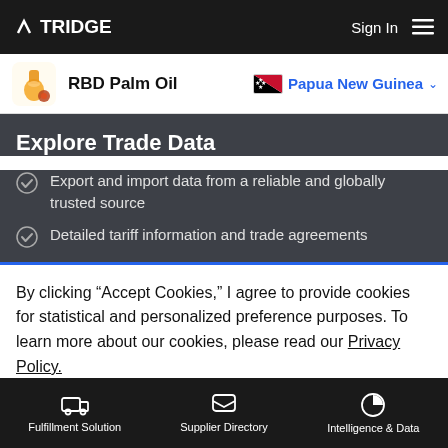TRIDGE  Sign In ☰
RBD Palm Oil  🇵🇬 Papua New Guinea
Explore Trade Data
Export and import data from a reliable and globally trusted source
Detailed tariff information and trade agreements
By clicking "Accept Cookies," I agree to provide cookies for statistical and personalized preference purposes. To learn more about our cookies, please read our Privacy Policy.
Accept Cookies
Fulfillment Solution  Supplier Directory  Intelligence & Data